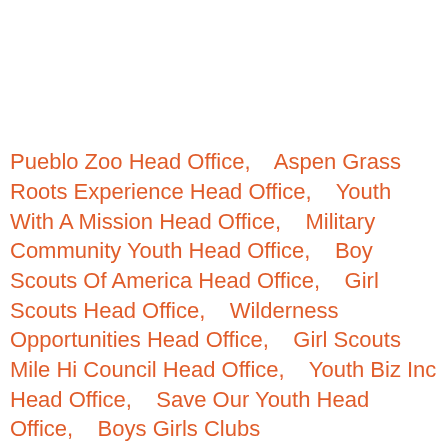Pueblo Zoo Head Office,    Aspen Grass Roots Experience Head Office,    Youth With A Mission Head Office,    Military Community Youth Head Office,    Boy Scouts Of America Head Office,    Girl Scouts Head Office,    Wilderness Opportunities Head Office,    Girl Scouts Mile Hi Council Head Office,    Youth Biz Inc Head Office,    Save Our Youth Head Office,    Boys Girls Clubs